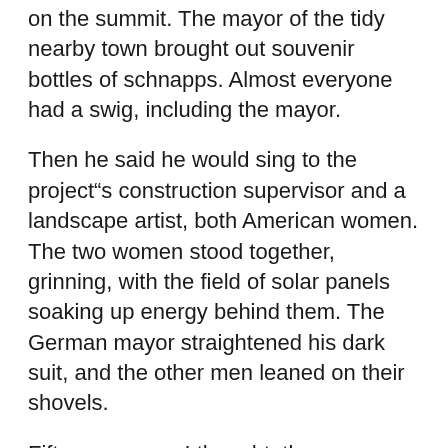on the summit. The mayor of the tidy nearby town brought out souvenir bottles of schnapps. Almost everyone had a swig, including the mayor.
Then he said he would sing to the project"s construction supervisor and a landscape artist, both American women. The two women stood together, grinning, with the field of solar panels soaking up energy behind them. The German mayor straightened his dark suit, and the other men leaned on their shovels.
Fifty years ago, I thought, there were still bombed-out ruins in the cities of Europe. The Soviet Union was planning Sputnik. Texas oil was $2.82 U.S. a barrel. At the most, we have 50 years to make the world over again. But people change, adapt, and make crazy new stuff work. I thought about Dan Shugar talking about disruptive technologies. "There"s a sense of excitement," he had said